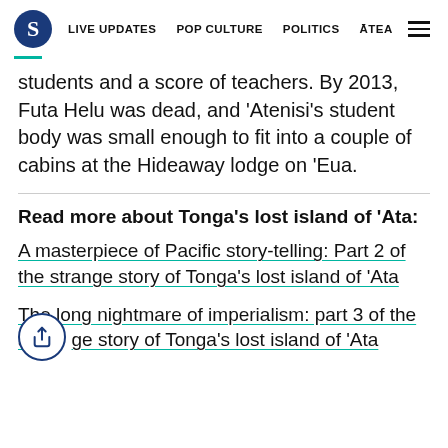S  LIVE UPDATES  POP CULTURE  POLITICS  ĀTEA
students and a score of teachers. By 2013, Futa Helu was dead, and 'Atenisi's student body was small enough to fit into a couple of cabins at the Hideaway lodge on 'Eua.
Read more about Tonga's lost island of 'Ata:
A masterpiece of Pacific story-telling: Part 2 of the strange story of Tonga's lost island of 'Ata
The long nightmare of imperialism: part 3 of the strange story of Tonga's lost island of 'Ata